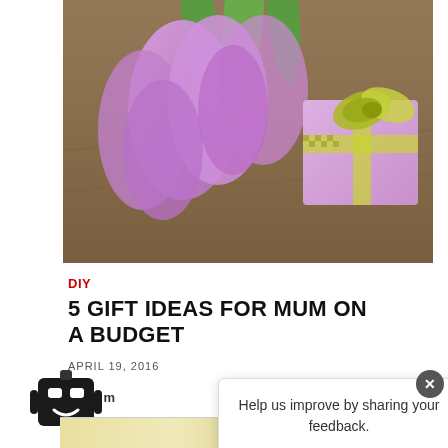[Figure (photo): Photo of purple/lavender tulips next to a pink gift box wrapped with a yellow-green gingham ribbon bow, on a wooden surface]
DIY
5 GIFT IDEAS FOR MUM ON A BUDGET
APRIL 19, 2016
Read more
Help us improve by sharing your feedback.